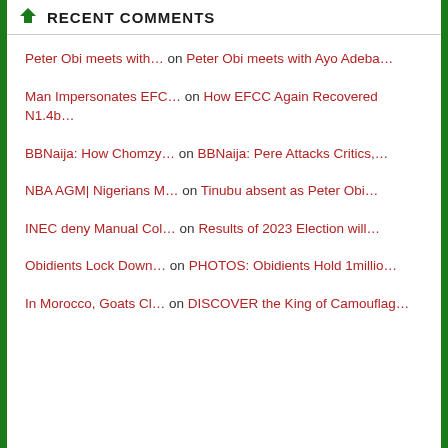RECENT COMMENTS
Peter Obi meets with… on Peter Obi meets with Ayo Adeba…
Man Impersonates EFC… on How EFCC Again Recovered N1.4b…
BBNaija: How Chomzy… on BBNaija: Pere Attacks Critics,…
NBA AGM| Nigerians M… on Tinubu absent as Peter Obi…
INEC deny Manual Col… on Results of 2023 Election will…
Obidients Lock Down… on PHOTOS: Obidients Hold 1millio…
In Morocco, Goats Cl… on DISCOVER the King of Camouflag…